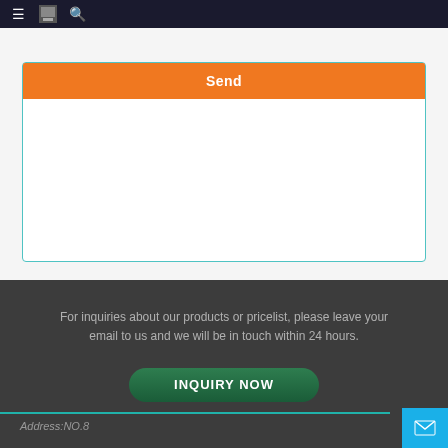≡ [icon] 🔍
[Figure (screenshot): White form card with teal border and orange Send button at top]
Send
For inquiries about our products or pricelist, please leave your email to us and we will be in touch within 24 hours.
INQUIRY NOW
Address:NO.8